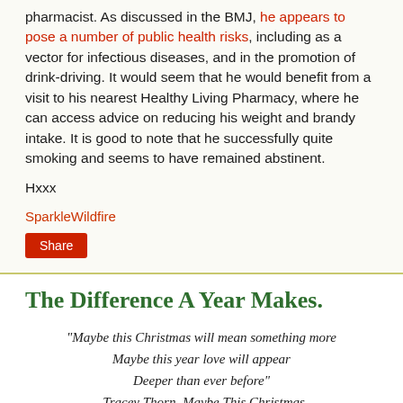pharmacist. As discussed in the BMJ, he appears to pose a number of public health risks, including as a vector for infectious diseases, and in the promotion of drink-driving. It would seem that he would benefit from a visit to his nearest Healthy Living Pharmacy, where he can access advice on reducing his weight and brandy intake. It is good to note that he successfully quite smoking and seems to have remained abstinent.
Hxxx
SparkleWildfire
Share
The Difference A Year Makes.
“Maybe this Christmas will mean something more Maybe this year love will appear Deeper than ever before” -Tracey Thorn, Maybe This Christmas